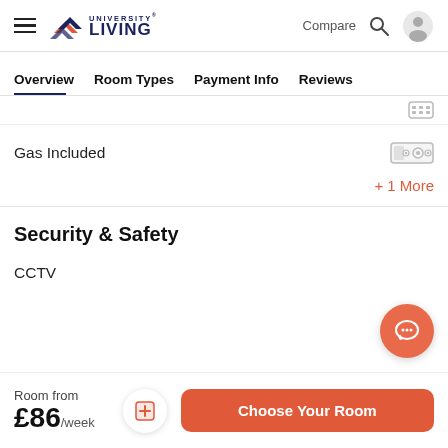University Living — Compare
Overview   Room Types   Payment Info   Reviews
Gas Included
+ 1 More
Security & Safety
CCTV
Room from £86/week
Choose Your Room